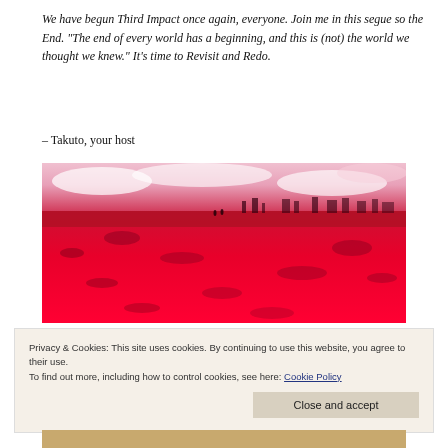We have begun Third Impact once again, everyone. Join me in this segue so the End. "The end of every world has a beginning, and this is (not) the world we thought we knew." It's time to Revisit and Redo.
– Takuto, your host
[Figure (photo): A vivid red-toned landscape scene resembling an apocalyptic or post-Third Impact world, with red ground, small dark figures in the distance, and a pinkish-white sky.]
Privacy & Cookies: This site uses cookies. By continuing to use this website, you agree to their use. To find out more, including how to control cookies, see here: Cookie Policy
Close and accept